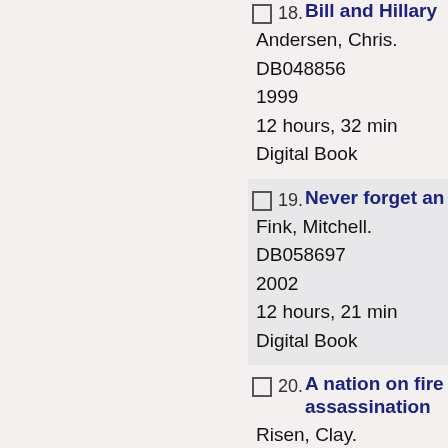18. Bill and Hillary — Andersen, Chris. DB048856 1999 12 hours, 32 min Digital Book
19. Never forget an — Fink, Mitchell. DB058697 2002 12 hours, 21 min Digital Book
20. A nation on fire assassination — Risen, Clay. DB070478 2009 9 hours, 57 minutes Digital Book